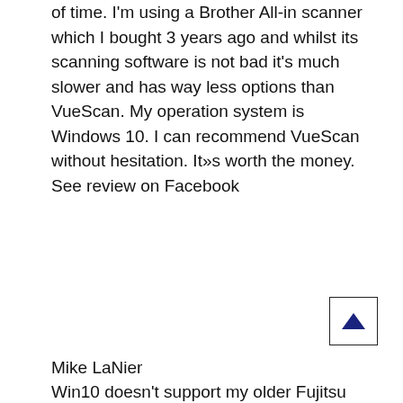of time. I'm using a Brother All-in scanner which I bought 3 years ago and whilst its scanning software is not bad it's much slower and has way less options than VueScan. My operation system is Windows 10. I can recommend VueScan without hesitation. It»s worth the money. See review on Facebook
[Figure (other): Scroll-to-top button with upward-pointing dark navy triangle/arrow inside a square border]
Mike LaNier
Win10 doesn't support my older Fujitsu scanner...